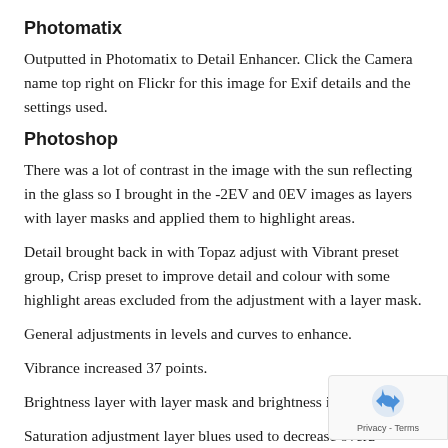Photomatix
Outputted in Photomatix to Detail Enhancer. Click the Camera name top right on Flickr for this image for Exif details and the settings used.
Photoshop
There was a lot of contrast in the image with the sun reflecting in the glass so I brought in the -2EV and 0EV images as layers with layer masks and applied them to highlight areas.
Detail brought back in with Topaz adjust with Vibrant preset group, Crisp preset to improve detail and colour with some highlight areas excluded from the adjustment with a layer mask.
General adjustments in levels and curves to enhance.
Vibrance increased 37 points.
Brightness layer with layer mask and brightness increase
Saturation adjustment layer blues used to decrease overa